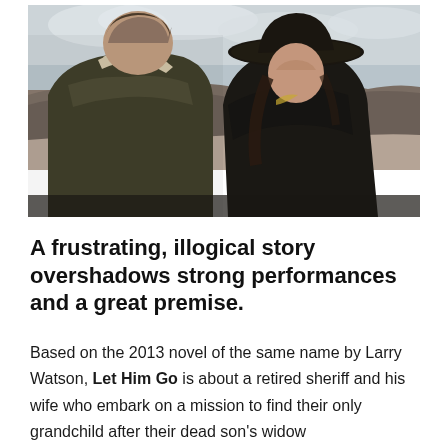[Figure (photo): Two people face each other in an outdoor desert/badlands landscape. The man on the left is older, wearing a dark olive jacket with a shearling collar. The woman on the right wears a dark coat and a wide-brimmed cowboy-style hat. The background shows eroded desert hills and a cloudy sky.]
A frustrating, illogical story overshadows strong performances and a great premise.
Based on the 2013 novel of the same name by Larry Watson, Let Him Go is about a retired sheriff and his wife who embark on a mission to find their only grandchild after their dead son's widow